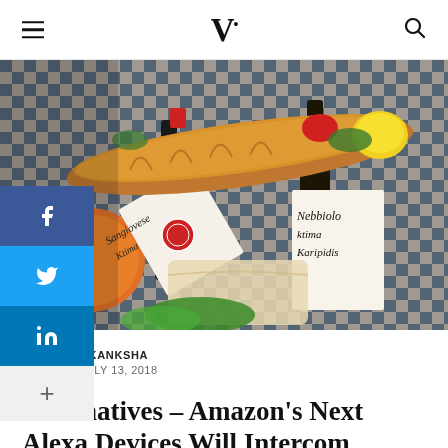V· (logo) with hamburger menu and search icon
[Figure (photo): Overhead photo of wine bottles with handwritten labels ('Sangiovese Ktima' and 'Nebbiolo Ktima Karipidis'), a baguette, fruits (orange, lemon), and a blue checkered cloth on a picnic-style spread.]
AKANKSHA
JULY 13, 2018
Alternatives – Amazon's Next Alexa Devices Will Intercom Capabilities